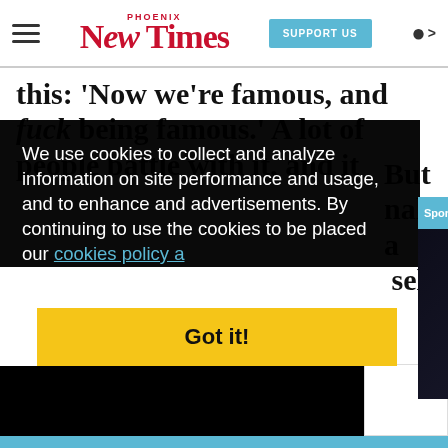Phoenix New Times - SUPPORT US
this: 'Now we're famous, and fuck being famous.' A lot of people battle with it, and it
We use cookies to collect and analyze information on site performance and usage, and to enhance and advertisements. By continuing to use the cookies to be placed our cookies policy a
[Figure (screenshot): Sponsored Content video ad popup showing D-backs vs. Padres baseball game with team logos on dark background, with mute button and close X button]
Got it!
But make a self